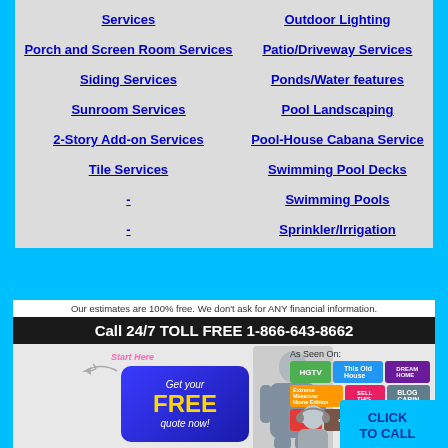Services
Outdoor Lighting
Porch and Screen Room Services
Patio/Driveway Services
Siding Services
Ponds/Water features
Sunroom Services
Pool Landscaping
2-Story Add-on Services
Pool-House Cabana Service
Tile Services
Swimming Pool Decks
Swimming Pools
Sprinkler/Irrigation
[Figure (infographic): Advertisement banner: 'Our estimates are 100% free. We don't ask for ANY financial information.' Call 24/7 TOLL FREE 1-866-643-8662. Features a 'Get your FREE quote now!' button, a man in blue shirt pointing, 'As Seen On' logos (HGTV, This Old House, Dream Home, Extreme Makeover Home Edition, Sell This House, Blog Cabin, TLC, Design), and a 'CLICK TO CALL' button with headset person.]